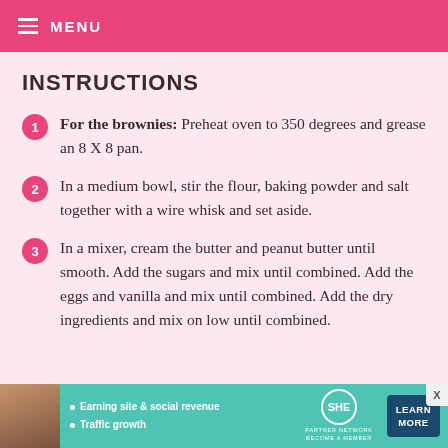MENU
INSTRUCTIONS
For the brownies: Preheat oven to 350 degrees and grease an 8 X 8 pan.
In a medium bowl, stir the flour, baking powder and salt together with a wire whisk and set aside.
In a mixer, cream the butter and peanut butter until smooth. Add the sugars and mix until combined. Add the eggs and vanilla and mix until combined. Add the dry ingredients and mix on low until combined.
[Figure (infographic): SHE Media Partner Network advertisement banner with photo, bullet points about earning site & social revenue and traffic growth, SHE logo, and LEARN MORE button]